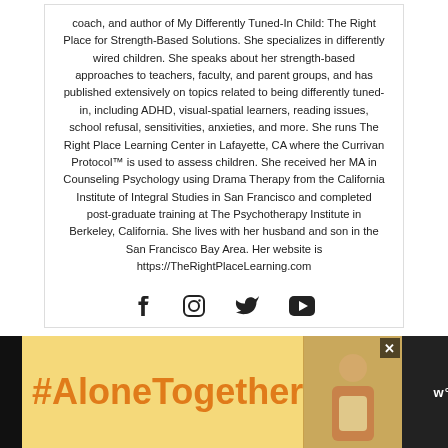coach, and author of My Differently Tuned-In Child: The Right Place for Strength-Based Solutions. She specializes in differently wired children. She speaks about her strength-based approaches to teachers, faculty, and parent groups, and has published extensively on topics related to being differently tuned-in, including ADHD, visual-spatial learners, reading issues, school refusal, sensitivities, anxieties, and more. She runs The Right Place Learning Center in Lafayette, CA where the Currivan Protocol™ is used to assess children. She received her MA in Counseling Psychology using Drama Therapy from the California Institute of Integral Studies in San Francisco and completed post-graduate training at The Psychotherapy Institute in Berkeley, California. She lives with her husband and son in the San Francisco Bay Area. Her website is https://TheRightPlaceLearning.com
[Figure (other): Social media icons: Facebook, Instagram, Twitter, YouTube]
[Figure (infographic): Advertisement banner: #AloneTogether with a photo of a woman and close buttons]